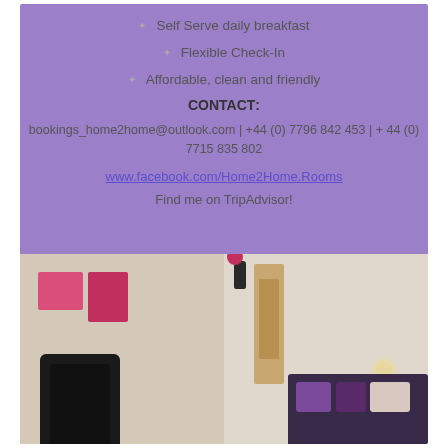Self Serve daily breakfast
Flexible Check-In
Affordable, clean and friendly
CONTACT:
bookings_home2home@outlook.com | +44 (0) 7796 842 453 | + 44 (0) 7715 835 802
www.facebook.com/Home2Home.Rooms
Find me on TripAdvisor!
[Figure (photo): Interior room photo showing two views: left side with a black fireplace and floral wall art, right side with a bedroom featuring purple pillows on a dark bed frame and a wooden wardrobe]